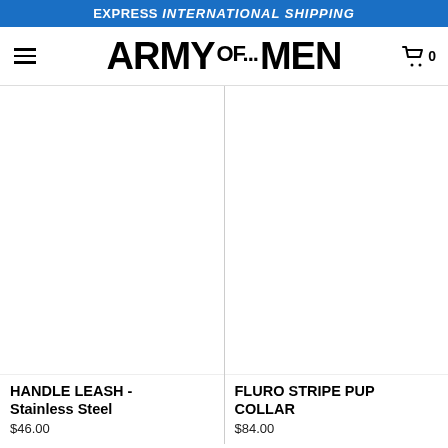EXPRESS INTERNATIONAL SHIPPING
ARMY OF MEN
HANDLE LEASH - Stainless Steel
$46.00
FLURO STRIPE PUP COLLAR
$84.00